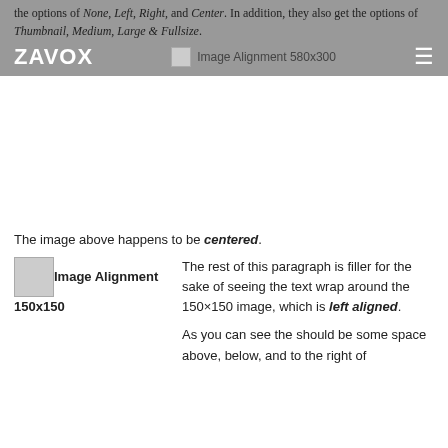the options of None, Left, Right, and Center. In addition, they also get the options of Thumbnail, Medium, Large & Fullsize.
ZAVOX | Image Alignment 580x300
[Figure (illustration): Large white/blank image area representing Image Alignment 580x300 centered image]
The image above happens to be centered.
[Figure (illustration): Small broken image placeholder for Image Alignment 150x150, left aligned]
The rest of this paragraph is filler for the sake of seeing the text wrap around the 150×150 image, which is left aligned.

As you can see the should be some space above, below, and to the right of